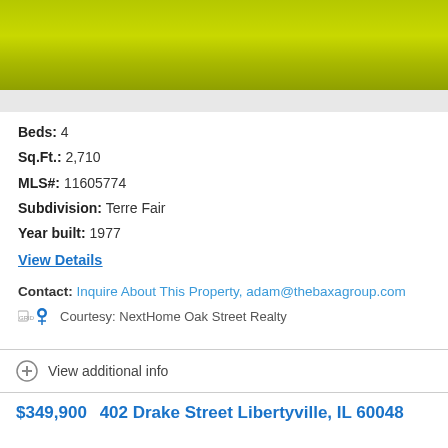[Figure (photo): Green grass lawn photo strip at top of property listing]
Beds: 4
Sq.Ft.: 2,710
MLS#: 11605774
Subdivision: Terre Fair
Year built: 1977
View Details
Contact: Inquire About This Property, adam@thebaxagroup.com
Courtesy: NextHome Oak Street Realty
View additional info
$349,900   402 Drake Street Libertyville, IL 60048